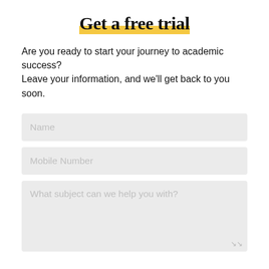Get a free trial
Are you ready to start your journey to academic success?
Leave your information, and we'll get back to you soon.
Name
Mobile Number
What subject can we help you with?